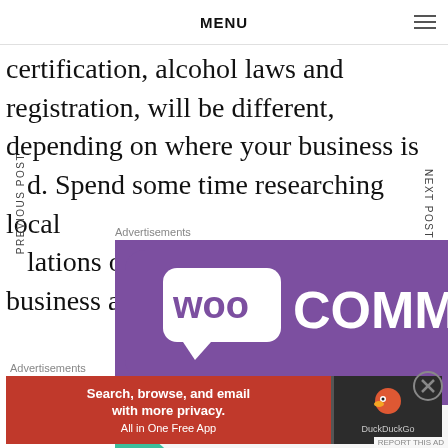MENU
certification, alcohol laws and registration, will be different, depending on where your business is located. Spend some time researching local regulations or getting help from a business advisor
Advertisements
[Figure (screenshot): WooCommerce advertisement showing purple banner with WooCommerce logo and text 'How to start selling']
Advertisements
[Figure (screenshot): DuckDuckGo advertisement: 'Search, browse, and email with more privacy. All in One Free App' with DuckDuckGo logo on dark background]